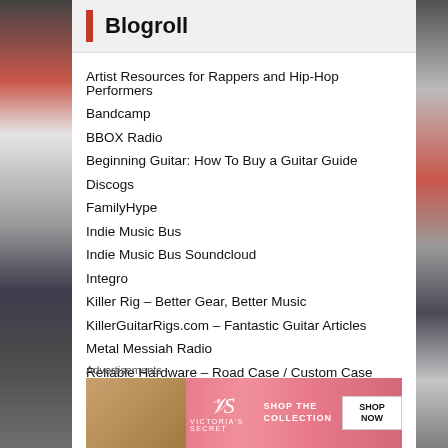Blogroll
Artist Resources for Rappers and Hip-Hop Performers
Bandcamp
BBOX Radio
Beginning Guitar: How To Buy a Guitar Guide
Discogs
FamilyHype
Indie Music Bus
Indie Music Bus Soundcloud
Integro
Killer Rig – Better Gear, Better Music
KillerGuitarRigs.com – Fantastic Guitar Articles
Metal Messiah Radio
Reliable Hardware – Road Case / Custom Case Equipment
Advertisements